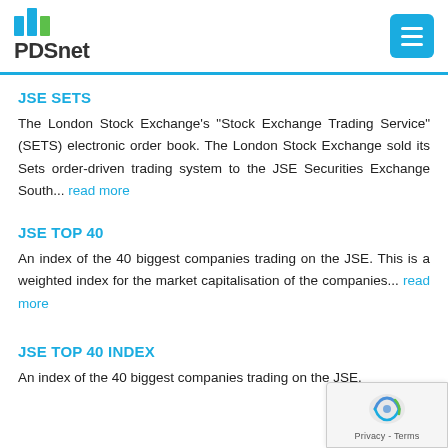PDSnet
JSE SETS
The London Stock Exchange's "Stock Exchange Trading Service" (SETS) electronic order book. The London Stock Exchange sold its Sets order-driven trading system to the JSE Securities Exchange South... read more
JSE TOP 40
An index of the 40 biggest companies trading on the JSE. This is a weighted index for the market capitalisation of the companies... read more
JSE TOP 40 INDEX
An index of the 40 biggest companies trading on the JSE.